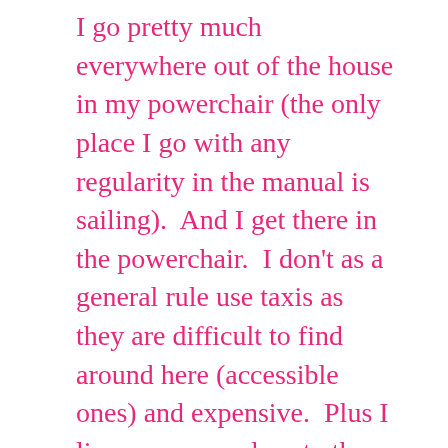I go pretty much everywhere out of the house in my powerchair (the only place I go with any regularity in the manual is sailing).  And I get there in the powerchair.  I don't as a general rule use taxis as they are difficult to find around here (accessible ones) and expensive.  Plus I live very very close to the train station and close to town so it's not really necessary.
On a daily basis I would say I probably do two or three miles in the powerchair as it's probably somewhere in the region of two miles to do a round trip to town.  I say probably, I've never known for sure.
With the Salsa I wore the castors out several times (I forget how many but probably three...